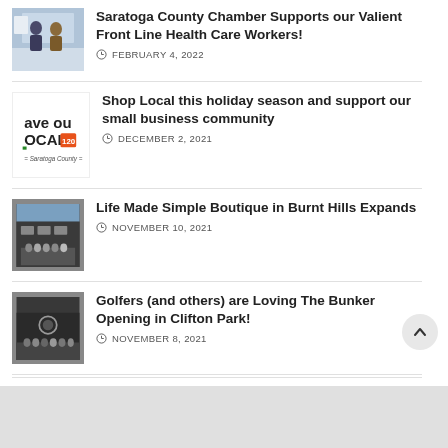Saratoga County Chamber Supports our Valient Front Line Health Care Workers!
FEBRUARY 4, 2022
[Figure (photo): Two people in masks standing in an indoor hallway]
Shop Local this holiday season and support our small business community
DECEMBER 2, 2021
[Figure (logo): Save Our Locals logo with Saratoga County branding]
Life Made Simple Boutique in Burnt Hills Expands
NOVEMBER 10, 2021
[Figure (photo): Group of people standing in front of a building for a ribbon cutting]
Golfers (and others) are Loving The Bunker Opening in Clifton Park!
NOVEMBER 8, 2021
[Figure (photo): Crowd in front of a dark building with a circular logo]